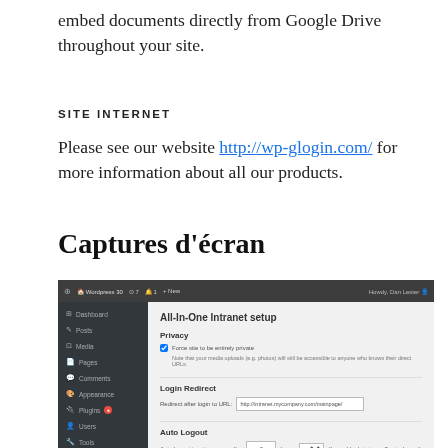embed documents directly from Google Drive throughout your site.
SITE INTERNET
Please see our website http://wp-glogin.com/ for more information about all our products.
Captures d'écran
[Figure (screenshot): WordPress admin panel showing All-In-One Intranet setup page with Privacy, Login Redirect, and Auto Logout settings sections.]